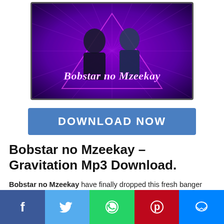[Figure (photo): Album art for Bobstar no Mzeekay – two people in front of purple geometric background with artist name in stylized italic text]
[Figure (other): Blue DOWNLOAD NOW button]
Bobstar no Mzeekay – Gravitation Mp3 Download.
Bobstar no Mzeekay have finally dropped this fresh banger titled Gravitation.
[Figure (other): Social share bar with Facebook, Twitter, WhatsApp, Pinterest, Messenger buttons]